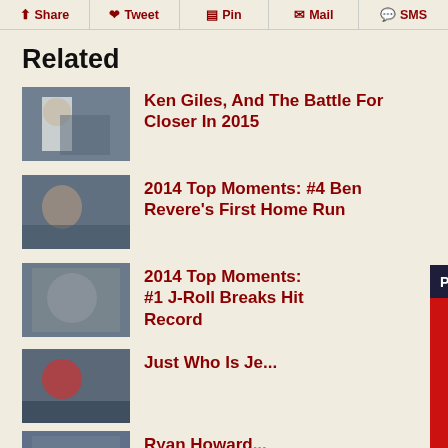Share | Tweet | Pin | Mail | SMS
Related
Ken Giles, And The Battle For Closer In 2015
2014 Top Moments: #4 Ben Revere's First Home Run
2014 Top Moments: #1 J-Roll Breaks Hit Record
Just Who Is Je...
Ryan Howard...
[Figure (screenshot): Video popup overlay showing Phillies vs. Giants Highlights with team logos (Phillies red P logo and Giants SF logo) and a mute button icon, with a close X button in top right corner]